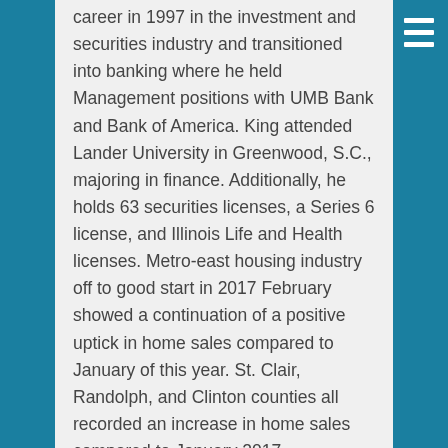career in 1997 in the investment and securities industry and transitioned into banking where he held Management positions with UMB Bank and Bank of America. King attended Lander University in Greenwood, S.C., majoring in finance. Additionally, he holds 63 securities licenses, a Series 6 license, and Illinois Life and Health licenses. Metro-east housing industry off to good start in 2017 February showed a continuation of a positive uptick in home sales compared to January of this year. St. Clair, Randolph, and Clinton counties all recorded an increase in home sales compared to January 2017.